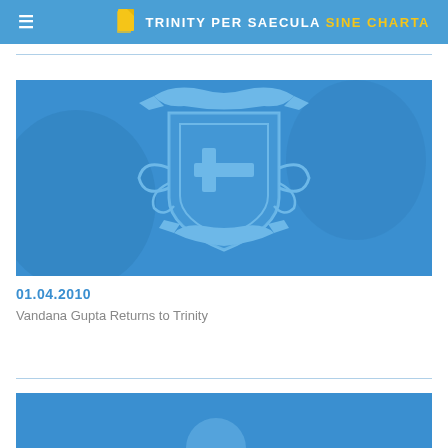TRINITY PER SAECULA SINE CHARTA
[Figure (illustration): Trinity college crest/coat of arms on blue background — shield with cross, decorative scrollwork and ribbons, in lighter blue on medium blue background]
01.04.2010
Vandana Gupta Returns to Trinity
[Figure (illustration): Partial blue background image — bottom of page, another article thumbnail]